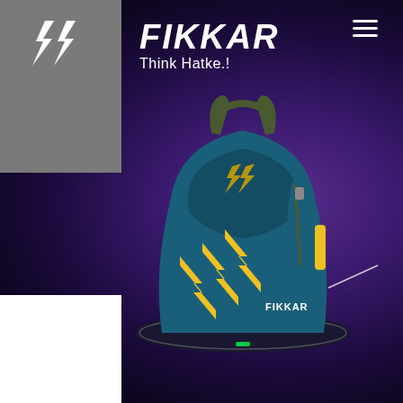[Figure (logo): Fikkar brand logo with two lightning bolt icons on grey and purple/dark background]
FIKKAR
Think Hatke.!
[Figure (photo): Fikkar branded backpack in teal/blue color with yellow chevron/arrow design and FIKKAR text, floating on dark platform with purple glowing background]